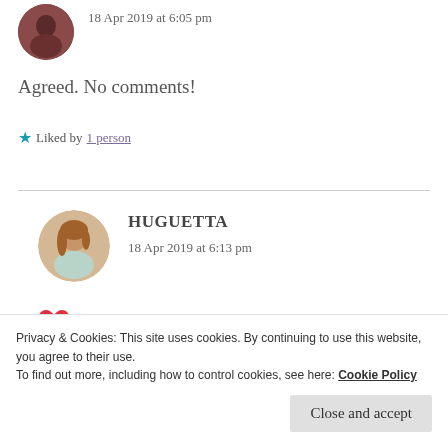18 Apr 2019 at 6:05 pm
Agreed. No comments!
Liked by 1 person
HUGUETTA
18 Apr 2019 at 6:13 pm
Privacy & Cookies: This site uses cookies. By continuing to use this website, you agree to their use. To find out more, including how to control cookies, see here: Cookie Policy
Close and accept